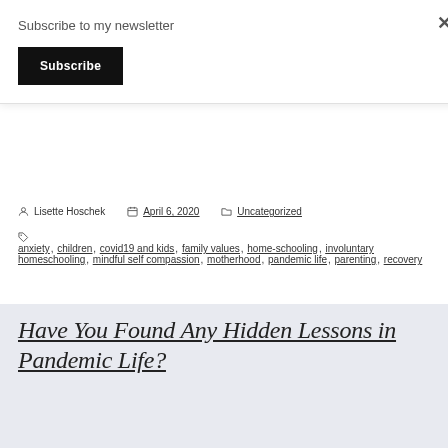Subscribe to my newsletter
Subscribe
Lisette Hoschek
April 6, 2020
Uncategorized
anxiety, children, covid19 and kids, family values, home-schooling, involuntary homeschooling, mindful self compassion, motherhood, pandemic life, parenting, recovery
Have You Found Any Hidden Lessons in Pandemic Life?